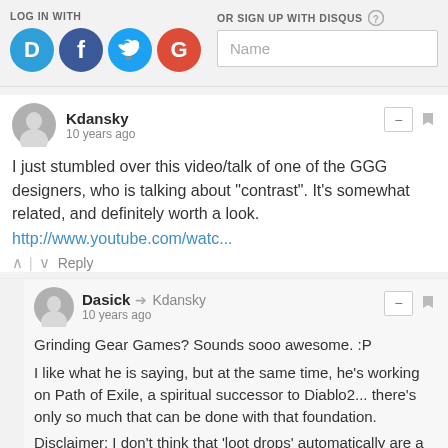[Figure (screenshot): Disqus comment section login bar with social icons (Disqus, Facebook, Twitter, Google) and a Name input field with 'OR SIGN UP WITH DISQUS' label]
I just stumbled over this video/talk of one of the GGG designers, who is talking about "contrast". It's somewhat related, and definitely worth a look.
http://www.youtube.com/watc...
Grinding Gear Games? Sounds sooo awesome. :P
I like what he is saying, but at the same time, he's working on Path of Exile, a spiritual successor to Diablo2... there's only so much that can be done with that foundation.
Disclaimer: I don't think that 'loot drops' automatically are a